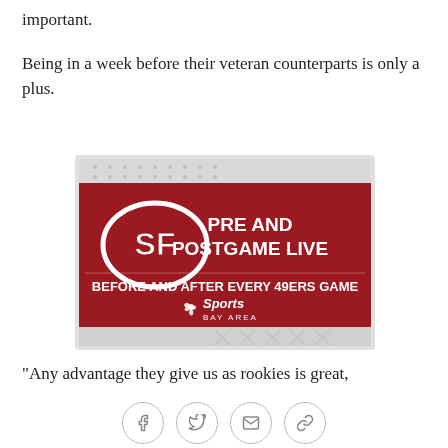important.
Being in a week before their veteran counterparts is only a plus.
[Figure (photo): SF 49ers Pre and Postgame Live promotional banner on NBC Sports Bay Area. Dark red background with 49ers logo and text: PRE AND POSTGAME LIVE / BEFORE AND AFTER EVERY 49ERS GAME / NBC Sports Bay Area logo.]
"Any advantage they give us as rookies is great,